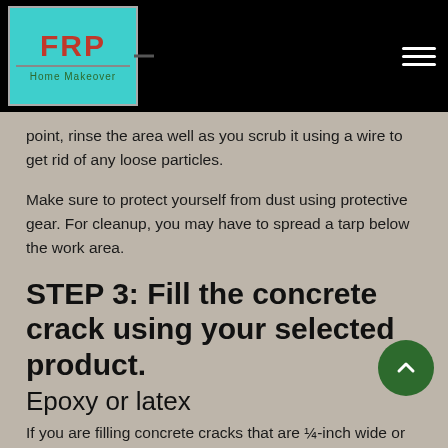[Figure (logo): FRP Home Makeover logo: teal/cyan background with red bold FRP text and green handwritten 'Home Makeover' subtitle, black navigation bar with hamburger menu icon]
point, rinse the area well as you scrub it using a wire to get rid of any loose particles.
Make sure to protect yourself from dust using protective gear. For cleanup, you may have to spread a tarp below the work area.
STEP 3: Fill the concrete crack using your selected product.
Epoxy or latex
If you are filling concrete cracks that are ¼-inch wide or